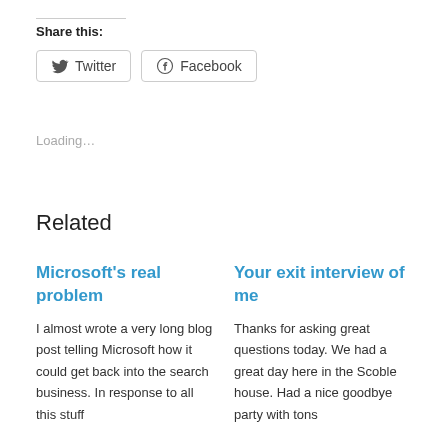Share this:
Twitter | Facebook
Loading...
Related
Microsoft's real problem
I almost wrote a very long blog post telling Microsoft how it could get back into the search business. In response to all this stuff
Your exit interview of me
Thanks for asking great questions today. We had a great day here in the Scoble house. Had a nice goodbye party with tons